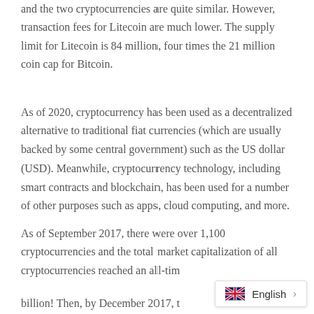and the two cryptocurrencies are quite similar. However, transaction fees for Litecoin are much lower. The supply limit for Litecoin is 84 million, four times the 21 million coin cap for Bitcoin.
As of 2020, cryptocurrency has been used as a decentralized alternative to traditional fiat currencies (which are usually backed by some central government) such as the US dollar (USD). Meanwhile, cryptocurrency technology, including smart contracts and blockchain, has been used for a number of other purposes such as apps, cloud computing, and more.
As of September 2017, there were over 1,100 cryptocurrencies and the total market capitalization of all cryptocurrencies reached an all-ti[me high of $60 billion! Then, by December 2017, t[he market...]